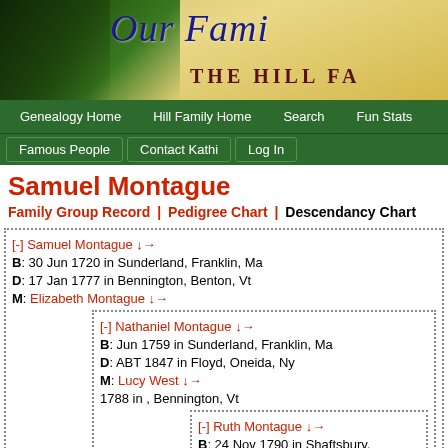[Figure (illustration): Website header banner showing trees on left with golden light rays, cursive text 'Our Fami...' in blue and 'THE HILL FA...' in dark red serif on tan/golden background]
Genealogy Home | Hill Family Home | Search | Fun Stats | Famous People | Contact Kathi | Log In
Samuel Montague
Family Group Record | Pedigree Chart | Descendancy Chart
[-] Samuel Montague ↓→
B: 30 Jun 1720 in Sunderland, Franklin, Ma
D: 17 Jan 1777 in Bennington, Benton, Vt
M: Elizabeth Montague ↓→
[-] Nathaniel Montague ↓→
B: Jun 1759 in Sunderland, Franklin, Ma
D: ABT 1847 in Floyd, Oneida, Ny
M: Lucy West ↓→
1788 in , Bennington, Vt
[-] Ruth Montague ↓→
B: 24 Nov 1790 in Shaftsbury, Bennington, Vt
D: 25 Nov 1874 in Edwards, St. Lawrence, Ny